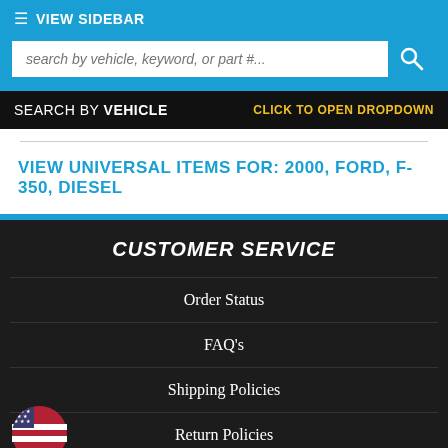≡ VIEW SIDEBAR
search by vehicle, keyword, or part #...
SEARCH BY VEHICLE    CLICK TO OPEN DROPDOWN
VIEW UNIVERSAL ITEMS FOR: 2000, FORD, F-350, DIESEL
CUSTOMER SERVICE
Order Status
FAQ's
Shipping Policies
Return Policies